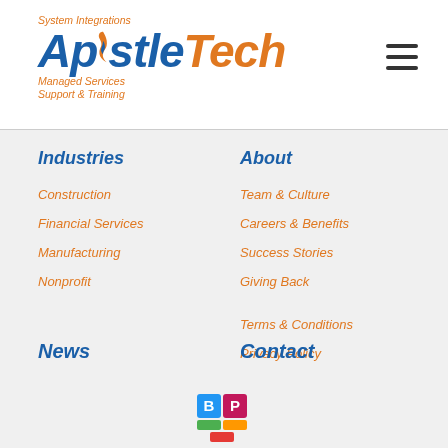ApostleTech - System Integrations, Managed Services, Support & Training
Industries
Construction
Financial Services
Manufacturing
Nonprofit
About
Team & Culture
Careers & Benefits
Success Stories
Giving Back
Terms & Conditions
Privacy Policy
News
Contact
[Figure (logo): BP icons - colored squares with letters B, P, and colored blocks below]